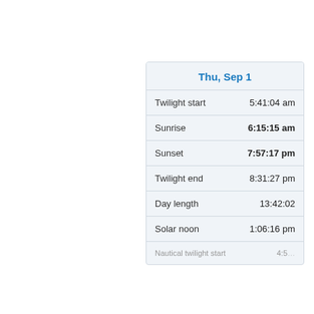|  | Thu, Sep 1 |
| --- | --- |
| Twilight start | 5:41:04 am |
| Sunrise | 6:15:15 am |
| Sunset | 7:57:17 pm |
| Twilight end | 8:31:27 pm |
| Day length | 13:42:02 |
| Solar noon | 1:06:16 pm |
| Nautical twilight start | 4:5… |